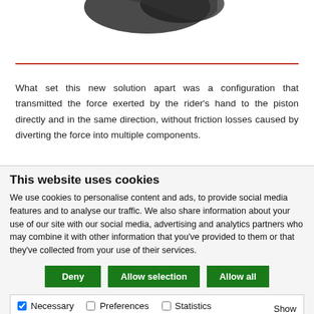[Figure (photo): Partial view of a bicycle or motorcycle component (dark object) visible at the top of the page against a white background]
What set this new solution apart was a configuration that transmitted the force exerted by the rider's hand to the piston directly and in the same direction, without friction losses caused by diverting the force into multiple components.
This website uses cookies
We use cookies to personalise content and ads, to provide social media features and to analyse our traffic. We also share information about your use of our site with our social media, advertising and analytics partners who may combine it with other information that you've provided to them or that they've collected from your use of their services.
Deny | Allow selection | Allow all
Necessary  Preferences  Statistics  Marketing  Show details